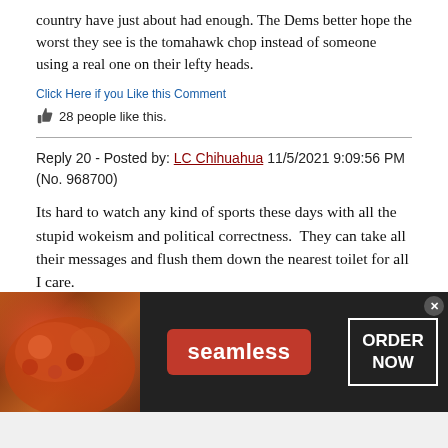country have just about had enough. The Dems better hope the worst they see is the tomahawk chop instead of someone using a real one on their lefty heads.
Click Here if you Like this Comment
28 people like this.
Reply 20 - Posted by: LC Chihuahua 11/5/2021 9:09:56 PM (No. 968700)
Its hard to watch any kind of sports these days with all the stupid wokeism and political correctness.  They can take all their messages and flush them down the nearest toilet for all I care.
[Figure (infographic): Seamless food delivery advertisement banner with pizza image on left, red Seamless logo button in center, and ORDER NOW button in white border on right, with dark background. Close button (x) in top right corner.]